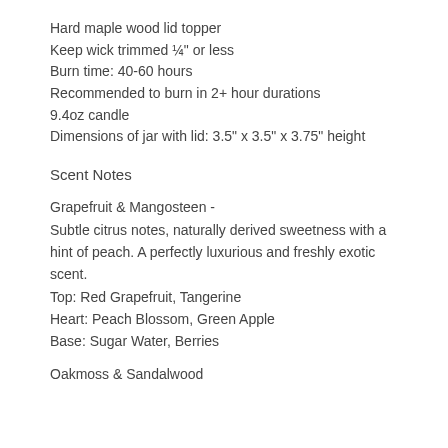Hard maple wood lid topper
Keep wick trimmed ¼" or less
Burn time: 40-60 hours
Recommended to burn in 2+ hour durations
9.4oz candle
Dimensions of jar with lid: 3.5" x 3.5" x 3.75" height
Scent Notes
Grapefruit & Mangosteen -
Subtle citrus notes, naturally derived sweetness with a hint of peach. A perfectly luxurious and freshly exotic scent.
Top: Red Grapefruit, Tangerine
Heart: Peach Blossom, Green Apple
Base: Sugar Water, Berries
Oakmoss & Sandalwood